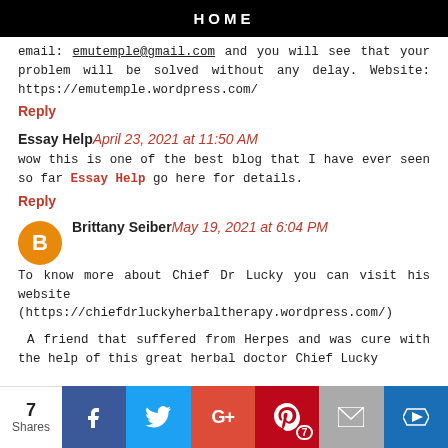HOME
email: emutemple@gmail.com and you will see that your problem will be solved without any delay. Website: https://emutemple.wordpress.com/
Reply
Essay Help April 23, 2021 at 11:50 AM
wow this is one of the best blog that I have ever seen so far Essay Help go here for details.
Reply
Brittany Seiber May 19, 2021 at 6:04 PM
To know more about Chief Dr Lucky you can visit his website (https://chiefdrluckyherbaltherapy.wordpress.com/)
A friend that suffered from Herpes and was cure with the help of this great herbal doctor Chief Lucky